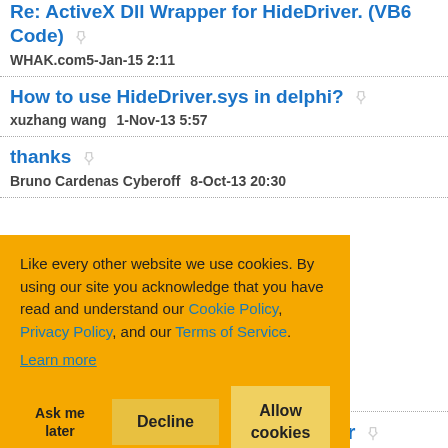Re: ActiveX Dll Wrapper for HideDriver. (VB6 Code)
WHAK.com   5-Jan-15 2:11
How to use HideDriver.sys in delphi?
xuzhang wang   1-Nov-13 5:57
thanks
Bruno Cardenas Cyberoff   8-Oct-13 20:30
Like every other website we use cookies. By using our site you acknowledge that you have read and understand our Cookie Policy, Privacy Policy, and our Terms of Service. Learn more
Ask me later   Decline   Allow cookies
Hiding the folder from the explorer